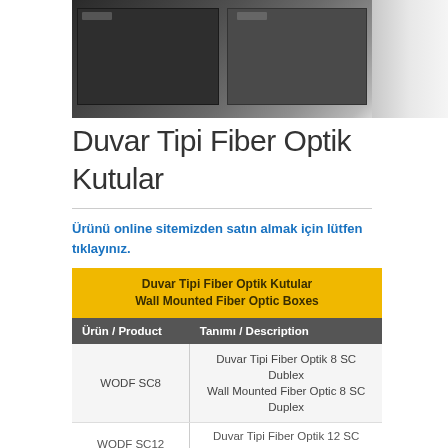[Figure (photo): Wall mounted fiber optic box product photo showing dark panel equipment]
Duvar Tipi Fiber Optik Kutular
Ürünü online sitemizden satın almak için lütfen tıklayınız.
| Ürün / Product | Tanımı / Description |
| --- | --- |
| WODF SC8 | Duvar Tipi Fiber Optik 8 SC Dublex / Wall Mounted Fiber Optic 8 SC Duplex |
| WODF SC12 | Duvar Tipi Fiber Optik 12 SC Dublex |